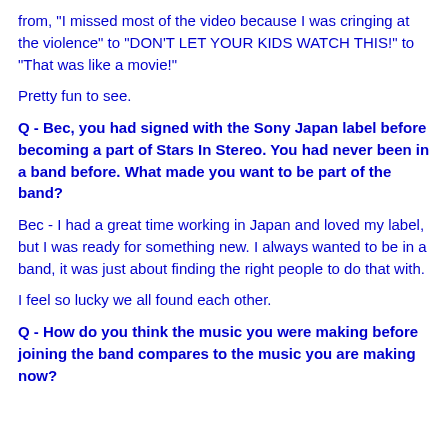from, "I missed most of the video because I was cringing at the violence" to "DON'T LET YOUR KIDS WATCH THIS!" to "That was like a movie!"
Pretty fun to see.
Q - Bec, you had signed with the Sony Japan label before becoming a part of Stars In Stereo. You had never been in a band before. What made you want to be part of the band?
Bec - I had a great time working in Japan and loved my label, but I was ready for something new. I always wanted to be in a band, it was just about finding the right people to do that with.
I feel so lucky we all found each other.
Q - How do you think the music you were making before joining the band compares to the music you are making now?